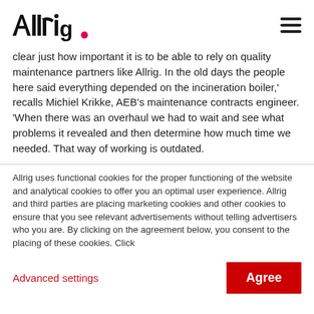Allrig logo and navigation
clear just how important it is to be able to rely on quality maintenance partners like Allrig. In the old days the people here said everything depended on the incineration boiler,' recalls Michiel Krikke, AEB's maintenance contracts engineer. 'When there was an overhaul we had to wait and see what problems it revealed and then determine how much time we needed. That way of working is outdated.
Allrig uses functional cookies for the proper functioning of the website and analytical cookies to offer you an optimal user experience. Allrig and third parties are placing marketing cookies and other cookies to ensure that you see relevant advertisements without telling advertisers who you are. By clicking on the agreement below, you consent to the placing of these cookies. Click
Advanced settings
Agree